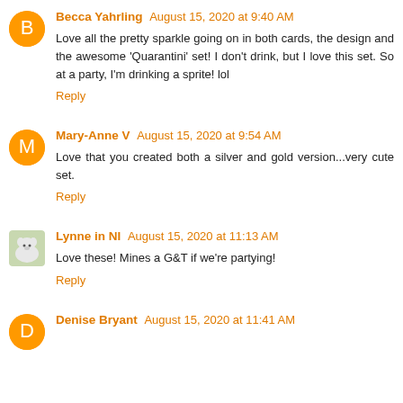Becca Yahrling August 15, 2020 at 9:40 AM
Love all the pretty sparkle going on in both cards, the design and the awesome 'Quarantini' set! I don't drink, but I love this set. So at a party, I'm drinking a sprite! lol
Reply
Mary-Anne V August 15, 2020 at 9:54 AM
Love that you created both a silver and gold version...very cute set.
Reply
Lynne in NI August 15, 2020 at 11:13 AM
Love these! Mines a G&T if we're partying!
Reply
Denise Bryant August 15, 2020 at 11:41 AM